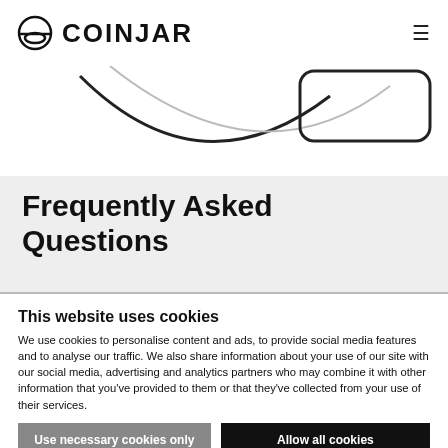COINJAR
[Figure (illustration): Partially visible decorative illustration showing curved shapes and a rounded rectangle outline, cropped at top of page]
Frequently Asked Questions
This website uses cookies
We use cookies to personalise content and ads, to provide social media features and to analyse our traffic. We also share information about your use of our site with our social media, advertising and analytics partners who may combine it with other information that you've provided to them or that they've collected from your use of their services.
Use necessary cookies only
Allow all cookies
Show details